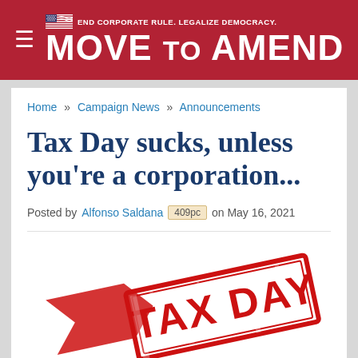END CORPORATE RULE. LEGALIZE DEMOCRACY. MOVE TO AMEND
Home » Campaign News » Announcements
Tax Day sucks, unless you're a corporation...
Posted by Alfonso Saldana 409pc on May 16, 2021
[Figure (photo): A large red rubber stamp reading TAX DAY with a red arrow/chevron graphic, stamped at an angle on a white background]